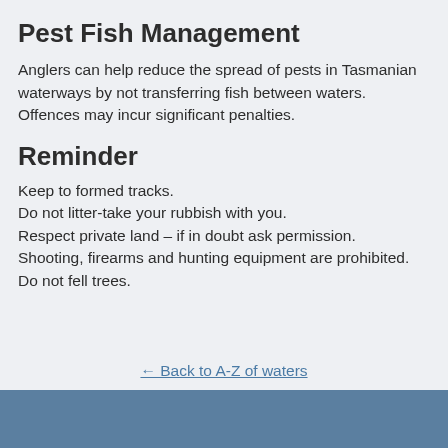Pest Fish Management
Anglers can help reduce the spread of pests in Tasmanian waterways by not transferring fish between waters. Offences may incur significant penalties.
Reminder
Keep to formed tracks.
Do not litter-take your rubbish with you.
Respect private land – if in doubt ask permission.
Shooting, firearms and hunting equipment are prohibited.
Do not fell trees.
← Back to A-Z of waters